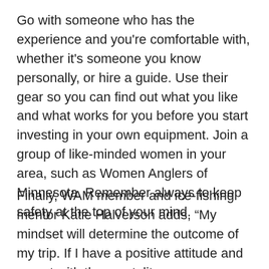Go with someone who has the experience and you're comfortable with, whether it's someone you know personally, or hire a guide. Use their gear so you can find out what you like and what works for you before you start investing in your own equipment. Join a group of like-minded women in your area, such as Women Anglers of Minnesota. Remember always to keep safety at the top of your mind.
Finally, WAM member and ice-fishing mentor Katie Halverson adds, “My mindset will determine the outcome of my trip. If I have a positive attitude and go out with the mentality